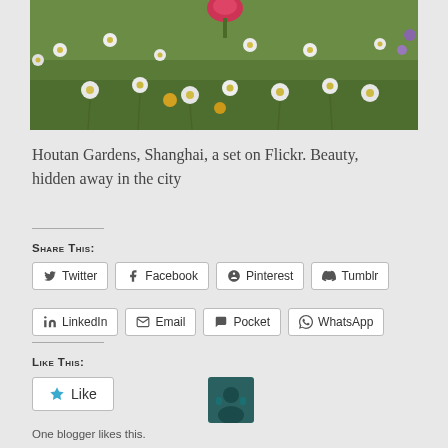[Figure (photo): Wildflower meadow with daisies, yellow flowers, and a pink poppy at top — Houtan Gardens, Shanghai]
Houtan Gardens, Shanghai, a set on Flickr. Beauty, hidden away in the city
Share this:
Twitter
Facebook
Pinterest
Tumblr
LinkedIn
Email
Pocket
WhatsApp
Like this:
One blogger likes this.